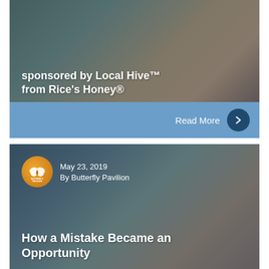[Figure (photo): Article card with dark-overlaid photo background showing plant/feather texture and warm tones. Contains title text about Attracting Bees, sponsored by Local Hive from Rice's Honey.]
sponsored by Local Hive™ from Rice's Honey®
Read More
[Figure (photo): Article card with dark-overlaid photo background showing a blue exhibit and brown wall with a framed item. Contains date, author, and article title.]
May 23, 2019
By Butterfly Pavilion
How a Mistake Became an Opportunity